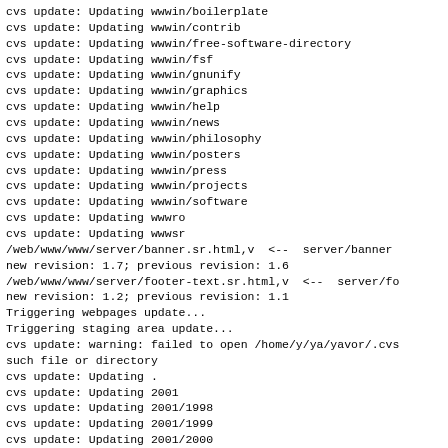cvs update: Updating wwwin/boilerplate
cvs update: Updating wwwin/contrib
cvs update: Updating wwwin/free-software-directory
cvs update: Updating wwwin/fsf
cvs update: Updating wwwin/gnunify
cvs update: Updating wwwin/graphics
cvs update: Updating wwwin/help
cvs update: Updating wwwin/news
cvs update: Updating wwwin/philosophy
cvs update: Updating wwwin/posters
cvs update: Updating wwwin/press
cvs update: Updating wwwin/projects
cvs update: Updating wwwin/software
cvs update: Updating wwwro
cvs update: Updating wwwsr
/web/www/www/server/banner.sr.html,v  <--  server/banner
new revision: 1.7; previous revision: 1.6
/web/www/www/server/footer-text.sr.html,v  <--  server/fo
new revision: 1.2; previous revision: 1.1
Triggering webpages update...
Triggering staging area update...
cvs update: warning: failed to open /home/y/ya/yavor/.cvs
such file or directory
cvs update: Updating .
cvs update: Updating 2001
cvs update: Updating 2001/1998
cvs update: Updating 2001/1999
cvs update: Updating 2001/2000
cvs update: Updating 2001/2001
cvs update: Updating audio-video